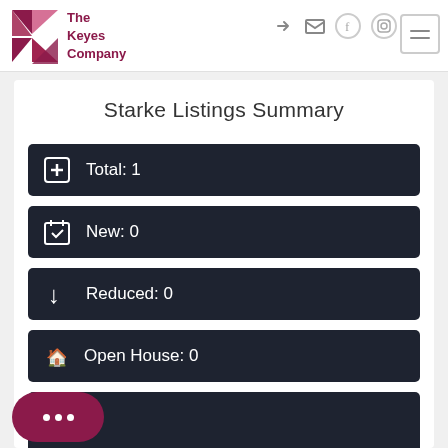[Figure (logo): The Keyes Company logo with stylized K in dark red/maroon and company name text]
The Keyes Company — navigation header with icons
Starke Listings Summary
Total: 1
New: 0
Reduced: 0
Open House: 0